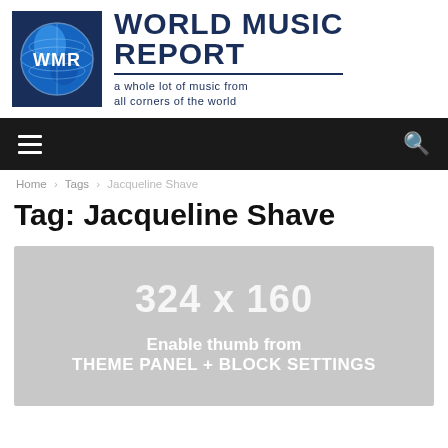[Figure (logo): World Music Report logo with a globe icon labeled WMR on the left and site title text on the right reading WORLD MUSIC REPORT with tagline 'a whole lot of music from all corners of the world']
≡   🔍
Home › Tags › Jacqueline Shave
Tag: Jacqueline Shave
[Figure (other): Gray placeholder image showing dimensions 324 x 160 with text 'Enable thumb from THEME PANEL + BLOCK SETTINGS']